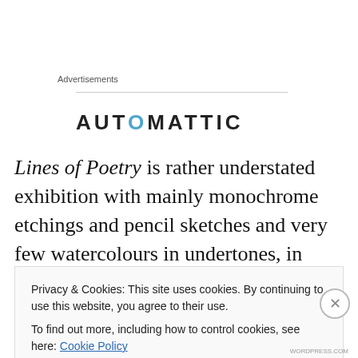Advertisements
[Figure (other): Automattic advertisement banner partially visible, showing a horizontal rule and the text AUTOMATTIC with a styled letter O in blue]
Lines of Poetry is rather understated exhibition with mainly monochrome etchings and pencil sketches and very few watercolours in undertones, in small sizes, in only two rooms on the ground floor (+ few works upstairs). But the tranquility and repose of his works are somehow
Privacy & Cookies: This site uses cookies. By continuing to use this website, you agree to their use.
To find out more, including how to control cookies, see here: Cookie Policy
Close and accept
WORDPRESS.COM